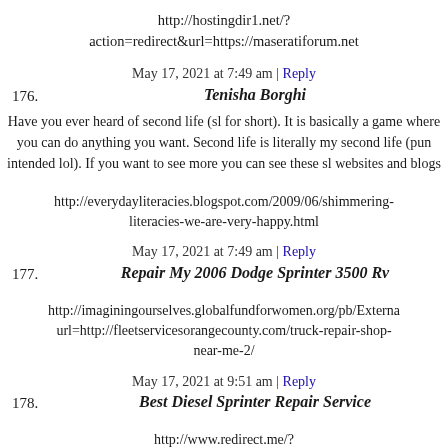http://hostingdir1.net/?action=redirect&url=https://maseratiforum.net
May 17, 2021 at 7:49 am | Reply
176. Tenisha Borghi
Have you ever heard of second life (sl for short). It is basically a game where you can do anything you want. Second life is literally my second life (pun intended lol). If you want to see more you can see these sl websites and blogs
http://everydayliteracies.blogspot.com/2009/06/shimmering-literacies-we-are-very-happy.html
May 17, 2021 at 7:49 am | Reply
177. Repair My 2006 Dodge Sprinter 3500 Rv
http://imaginingourselves.globalfundforwomen.org/pb/Externa url=http://fleetservicesorangecounty.com/truck-repair-shop-near-me-2/
May 17, 2021 at 9:51 am | Reply
178. Best Diesel Sprinter Repair Service
http://www.redirect.me/?